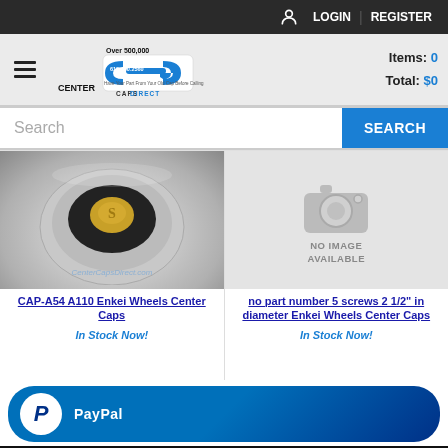LOGIN  REGISTER
[Figure (logo): Center Caps Direct logo with text 'Over 500,000 Center Caps In Stock!' and phone number 619.440.2560]
Items: 0  Total: $0
Search
[Figure (photo): Photo of a silver wheel center cap with gold emblem, watermarked CenterCapsDirect.com]
[Figure (photo): No image available placeholder with camera icon]
CAP-A54 A110 Enkei Wheels Center Caps
no part number 5 screws 2 1/2" in diameter Enkei Wheels Center Caps
In Stock Now!
In Stock Now!
[Figure (infographic): PayPal promotional banner with PayPal logo]
Find...